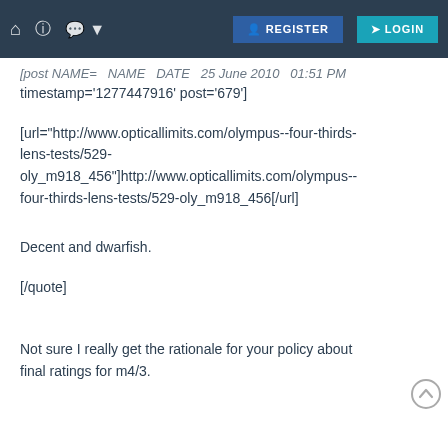🏠 ? 💬 REGISTER LOGIN
[post NAME=... timestamp='1277447916' post='679']
[url="http://www.opticallimits.com/olympus--four-thirds-lens-tests/529-oly_m918_456"]http://www.opticallimits.com/olympus--four-thirds-lens-tests/529-oly_m918_456[/url]
Decent and dwarfish.
[/quote]
Not sure I really get the rationale for your policy about final ratings for m4/3.